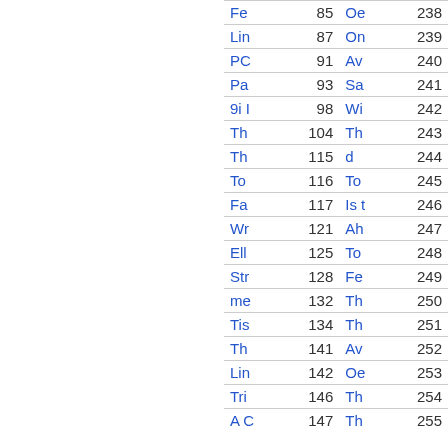| Col1 | Pg1 | Col2 | Pg2 |
| --- | --- | --- | --- |
| Fe | 85 | Oe | 238 |
| Lin | 87 | On | 239 |
| PC | 91 | Av | 240 |
| Pa | 93 | Sa | 241 |
| 9i I | 98 | Wi | 242 |
| Th | 104 | Th | 243 |
| Th | 115 | d | 244 |
| To | 116 | To | 245 |
| Fa | 117 | Is t | 246 |
| Wr | 121 | Ah | 247 |
| Ell | 125 | To | 248 |
| Str | 128 | Fe | 249 |
| me | 132 | Th | 250 |
| Tis | 134 | Th | 251 |
| Th | 141 | Av | 252 |
| Lin | 142 | Oe | 253 |
| Tri | 146 | Th | 254 |
| A C | 147 | Th | 255 |